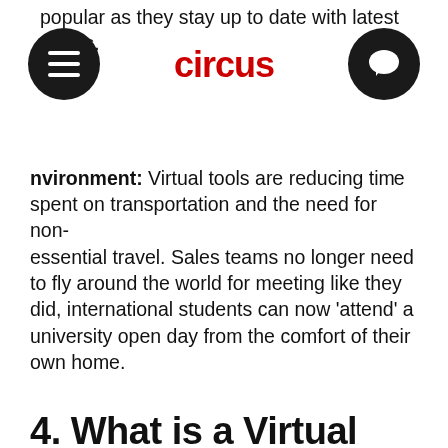popular as they stay up to date with latest trends.
[Figure (logo): Circus logo in red bold text]
Environment: Virtual tools are reducing time spent on transportation and the need for non-essential travel. Sales teams no longer need to fly around the world for meeting like they did, international students can now 'attend' a university open day from the comfort of their own home.
4. What is a Virtual Tour?
Virtual Tours are a fantastic way to open your doors online. Allowing visitors to immerse themselves in physical locations in a way which traditional 'flat' photography can't reproduce. An effective Virtual Tour starts with high quality 360 imagery which captures the details of the spaces